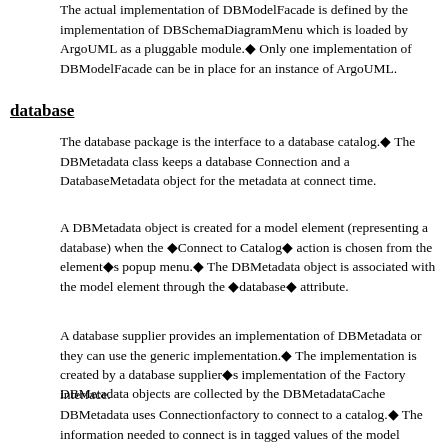The actual implementation of DBModelFacade is defined by the implementation of DBSchemaDiagramMenu which is loaded by ArgoUML as a pluggable module.◆ Only one implementation of DBModelFacade can be in place for an instance of ArgoUML.
database
The database package is the interface to a database catalog.◆ The DBMetadata class keeps a database Connection and a DatabaseMetadata object for the metadata at connect time.
A DBMetadata object is created for a model element (representing a database) when the ◆Connect to Catalog◆ action is chosen from the element◆s popup menu.◆ The DBMetadata object is associated with the model element through the ◆database◆ attribute.
A database supplier provides an implementation of DBMetadata or they can use the generic implementation.◆ The implementation is created by a database supplier◆s implementation of the Factory interface.
DBMetadata objects are collected by the DBMetadataCache
DBMetadata uses Connectionfactory to connect to a catalog.◆ The information needed to connect is in tagged values of the model element representing the database.◆ For example, the following model element represents a Tiger database.◆